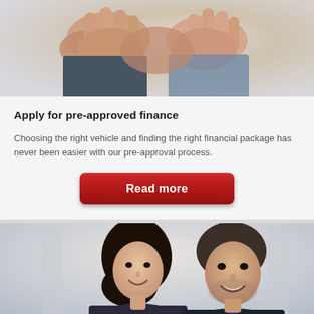[Figure (photo): Close-up photo of two people shaking hands in a business setting]
Apply for pre-approved finance
Choosing the right vehicle and finding the right financial package has never been easier with our pre-approval process.
[Figure (other): Red button labeled 'Read more']
[Figure (photo): Photo of a smiling man and woman in a professional setting]